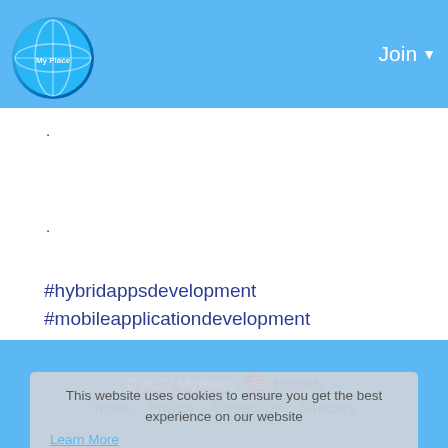MyPlace — Join
.
.
#hybridappsdevelopment #mobileapplicationdevelopment #reactnativeappdevelopmentcompany #Hirereactnativedevelopers #Hiremobileapps #softwaredevelopers #buildhybridapps #CrossPlatformAppDevelopment #HiringReactNativeappdevelopers
This website uses cookies to ensure you get the best experience on our website
Learn More
0 Comments
© 2022 MyPlace  🇺🇸  English  Terms  Privacy  Contact Us  Directory